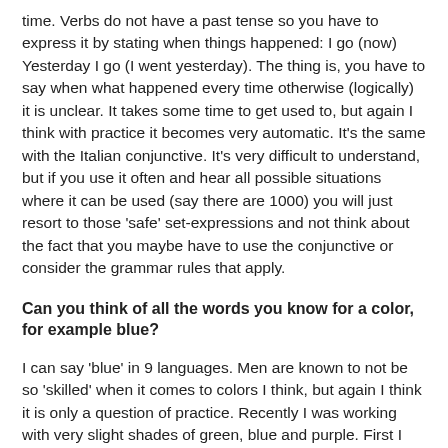time. Verbs do not have a past tense so you have to express it by stating when things happened: I go (now) Yesterday I go (I went yesterday). The thing is, you have to say when what happened every time otherwise (logically) it is unclear. It takes some time to get used to, but again I think with practice it becomes very automatic. It's the same with the Italian conjunctive. It's very difficult to understand, but if you use it often and hear all possible situations where it can be used (say there are 1000) you will just resort to those 'safe' set-expressions and not think about the fact that you maybe have to use the conjunctive or consider the grammar rules that apply.
Can you think of all the words you know for a color, for example blue?
I can say 'blue' in 9 languages. Men are known to not be so 'skilled' when it comes to colors I think, but again I think it is only a question of practice. Recently I was working with very slight shades of green, blue and purple. First I didn't even notice the difference, now after a few weeks I can see them clearly.